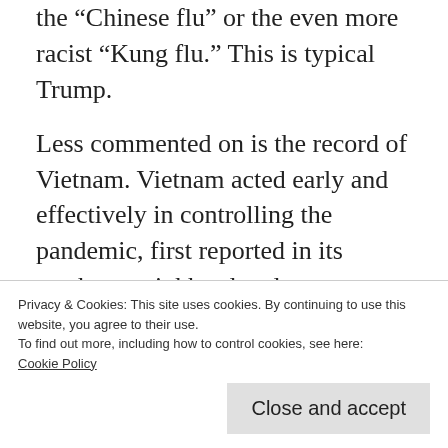the “Chinese flu” or the even more racist “Kung flu.” This is typical Trump.
Less commented on is the record of Vietnam. Vietnam acted early and effectively in controlling the pandemic, first reported in its northern neighbor late last year. According to the website Exemplars of Global Health, “Although Vietnam reported its first case of COVID-19 on January 23, 2020, it reported only a little more than 300 cases and zero
Privacy & Cookies: This site uses cookies. By continuing to use this website, you agree to their use.
To find out more, including how to control cookies, see here: Cookie Policy
Close and accept